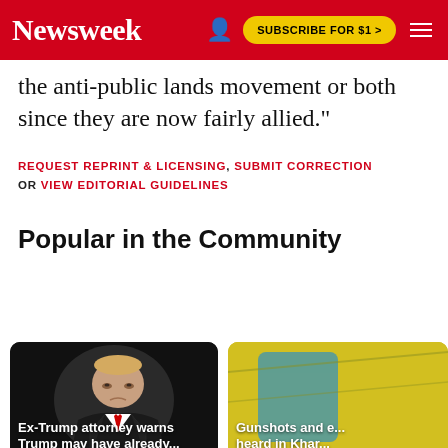Newsweek | SUBSCRIBE FOR $1 >
the anti-public lands movement or both since they are now fairly allied."
REQUEST REPRINT & LICENSING, SUBMIT CORRECTION OR VIEW EDITORIAL GUIDELINES
Popular in the Community
[Figure (photo): Dark photo of Donald Trump against a black background, card thumbnail]
Ex-Trump attorney warns Trump may have already...
[Figure (photo): Yellow-toned photo, partially visible, card thumbnail]
Gunshots and e... heard in Khar...